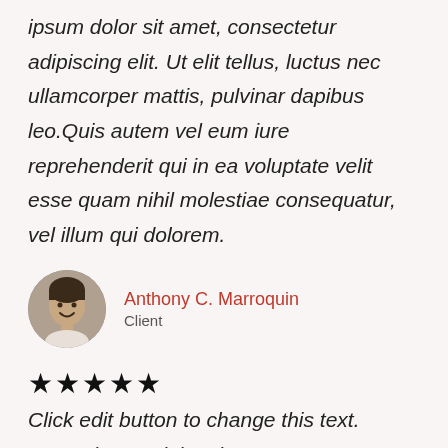ipsum dolor sit amet, consectetur adipiscing elit. Ut elit tellus, luctus nec ullamcorper mattis, pulvinar dapibus leo.Quis autem vel eum iure reprehenderit qui in ea voluptate velit esse quam nihil molestiae consequatur, vel illum qui dolorem.
[Figure (photo): Circular avatar photo of a young man smiling]
Anthony C. Marroquin
Client
★★★★★
Click edit button to change this text. Lorem ipsum dolor sit amet, consectetur adipiscing elit. Ut elit tellus, luctus nec